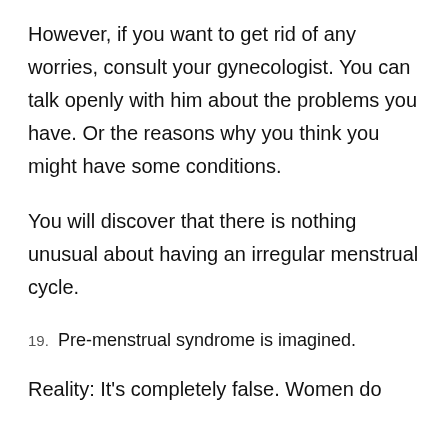However, if you want to get rid of any worries, consult your gynecologist. You can talk openly with him about the problems you have. Or the reasons why you think you might have some conditions.
You will discover that there is nothing unusual about having an irregular menstrual cycle.
19. Pre-menstrual syndrome is imagined.
Reality: It's completely false. Women do